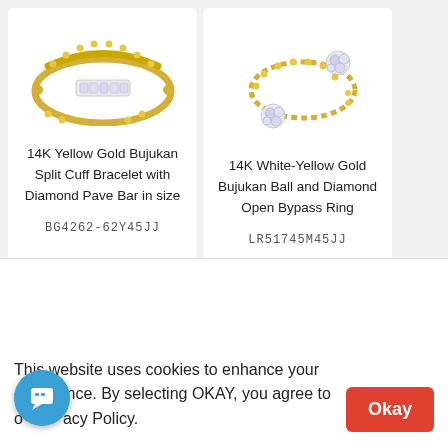[Figure (photo): 14K Yellow Gold Bujukan Split Cuff Bracelet with diamond pave bar - product photo on white background]
14K Yellow Gold Bujukan Split Cuff Bracelet with Diamond Pave Bar in size
BG4262-62Y45JJ
$1,625
[Figure (photo): 14K White-Yellow Gold Bujukan Ball and Diamond Open Bypass Ring - product photo on white background]
14K White-Yellow Gold Bujukan Ball and Diamond Open Bypass Ring
LR51745M45JJ
$800
4.9
This website uses cookies to enhance your experience. By selecting OKAY, you agree to our Privacy Policy.